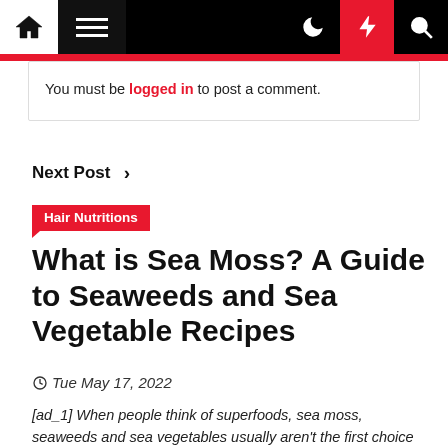Navigation bar with home, menu, moon, bolt, and search icons
You must be logged in to post a comment.
Next Post >
Hair Nutritions
What is Sea Moss? A Guide to Seaweeds and Sea Vegetable Recipes
Tue May 17, 2022
[ad_1] When people think of superfoods, sea moss, seaweeds and sea vegetables usually aren't the first choice that comes to mind. Yet seaweeds are